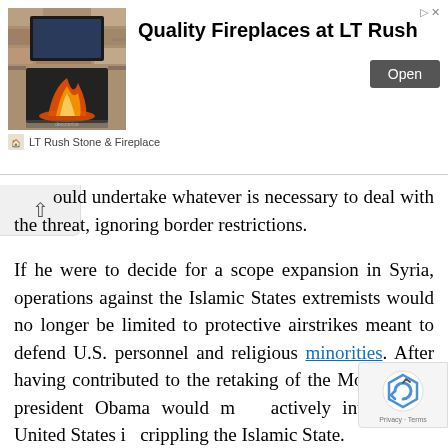[Figure (illustration): Advertisement banner for LT Rush Stone & Fireplace showing a stone fireplace image with text 'Quality Fireplaces at LT Rush' and an 'Open' button]
...ould undertake whatever is necessary to deal with the threat, ignoring border restrictions.
If he were to decide for a scope expansion in Syria, operations against the Islamic States extremists would no longer be limited to protective airstrikes meant to defend U.S. personnel and religious minorities. After having contributed to the retaking of the Mosul Dam, president Obama would more actively involve the United States in crippling the Islamic State.